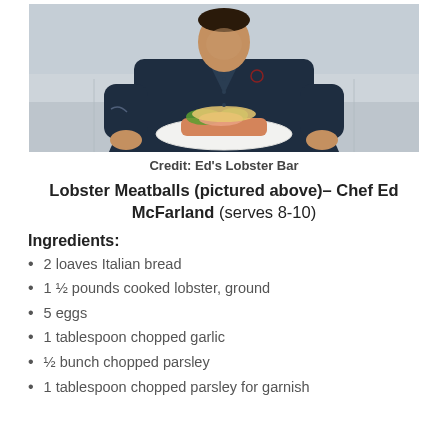[Figure (photo): Chef in navy uniform holding a white plate with lobster dish, standing in front of a light gray wainscoted wall]
Credit: Ed's Lobster Bar
Lobster Meatballs (pictured above)– Chef Ed McFarland (serves 8-10)
Ingredients:
2 loaves Italian bread
1 ½ pounds cooked lobster, ground
5 eggs
1 tablespoon chopped garlic
½ bunch chopped parsley
1 tablespoon chopped parsley for garnish